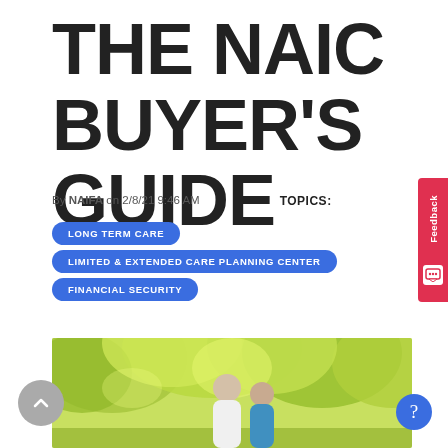THE NAIC BUYER'S GUIDE
By NAIFA on 2/8/21 9:46 AM
TOPICS:
LONG TERM CARE
LIMITED & EXTENDED CARE PLANNING CENTER
FINANCIAL SECURITY
[Figure (photo): Elderly couple seen from behind walking among green foliage trees]